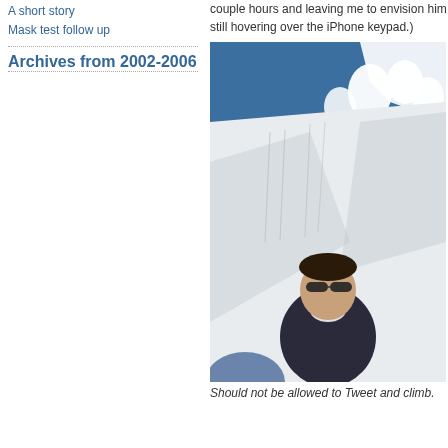A short story
Mask test follow up
Archives from 2002-2006
couple hours and leaving me to envision him still hovering over the iPhone keypad.)
[Figure (photo): A person wearing sunglasses sitting on a snowy mountain slope with snow-covered trees in the background and a blue sky.]
Should not be allowed to Tweet and climb.